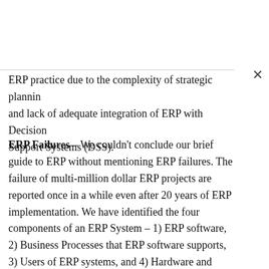ERP practice due to the complexity of strategic planning and lack of adequate integration of ERP with Decision Support Systems (DSS).
ERP Failures – We couldn't conclude our brief guide to ERP without mentioning ERP failures. The failure of multi-million dollar ERP projects are reported once in a while even after 20 years of ERP implementation. We have identified the four components of an ERP System – 1) ERP software, 2) Business Processes that ERP software supports, 3) Users of ERP systems, and 4) Hardware and Operating Systems that run ERP applications. The failures in one or more of those four components could cause the failure of an ERP project.